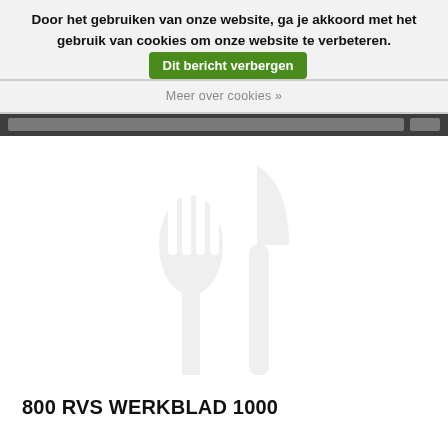Door het gebruiken van onze website, ga je akkoord met het gebruik van cookies om onze website te verbeteren. Dit bericht verbergen
Meer over cookies »
[Figure (illustration): Light grey fork and knife/spoon cutlery icons on white background, used as product placeholder image]
800 RVS WERKBLAD 1000